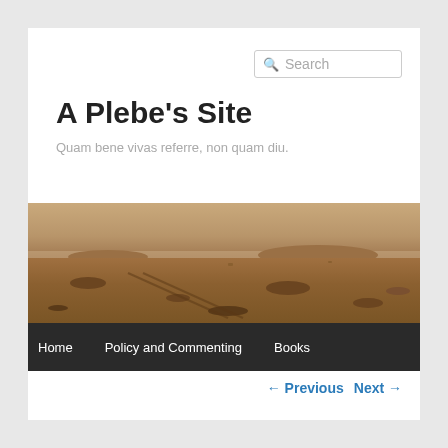Search
A Plebe's Site
Quam bene vivas referre, non quam diu.
[Figure (photo): Wide panoramic photo of a barren Mars-like rocky landscape with sandy terrain and a hazy horizon]
Home   Policy and Commenting   Books
← Previous   Next →
A Thought on Chevron